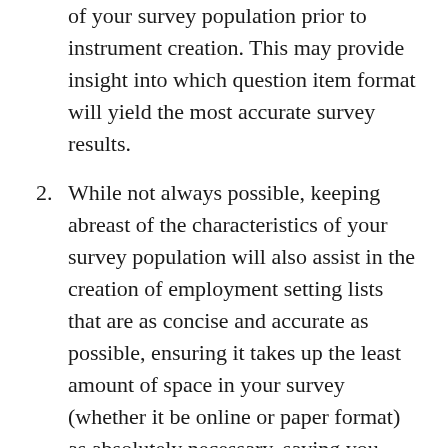of your survey population prior to instrument creation. This may provide insight into which question item format will yield the most accurate survey results.
2. While not always possible, keeping abreast of the characteristics of your survey population will also assist in the creation of employment setting lists that are as concise and accurate as possible, ensuring it takes up the least amount of space in your survey (whether it be online or paper format) as absolutely necessary, saving you money and the respondent time.